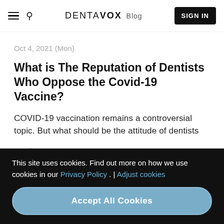DENTAVOX Blog | SIGN IN
Oct 4, 2021 (Mon)
What is The Reputation of Dentists Who Oppose the Covid-19 Vaccine?
COVID-19 vaccination remains a controversial topic. But what should be the attitude of dentists
Read more →
This site uses cookies. Find out more on how we use cookies in our Privacy Policy . | Adjust cookies
Accept All Cookies